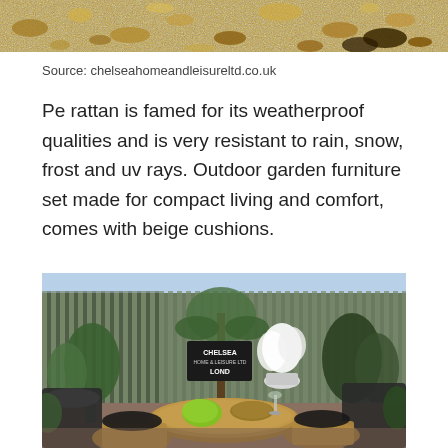[Figure (photo): Close-up photo of gravel or sandy/pebbly ground texture, partially visible at the top of the page]
Source: chelseahomeandleisureltd.co.uk
Pe rattan is famed for its weatherproof qualities and is very resistant to rain, snow, frost and uv rays. Outdoor garden furniture set made for compact living and comfort, comes with beige cushions.
[Figure (photo): Outdoor garden furniture set with rattan chairs and a round table, decorated with green and white cushions and flowers, against a dark wooden slatted fence background with tropical plants. A Chelsea Home & Leisure Ltd London sign is visible.]